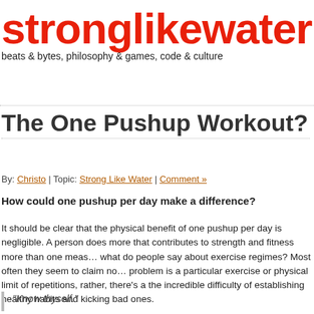stronglikewater
beats & bytes, philosophy & games, code & culture
The One Pushup Workout?
By: Christo | Topic: Strong Like Water | Comment »
How could one pushup per day make a difference?
It should be clear that the physical benefit of one pushup per day is negligible. A person does more that contributes to strength and fitness more than one measure… what do people say about exercise regimes? Most often they seem to claim no… problem is a particular exercise or physical limit of repetitions, rather, there's a… the incredible difficulty of establishing healthy habits and kicking bad ones.
“Know thyself.”